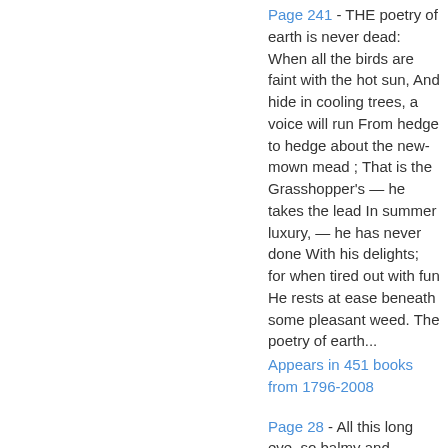Page 241 - THE poetry of earth is never dead: When all the birds are faint with the hot sun, And hide in cooling trees, a voice will run From hedge to hedge about the new-mown mead ; That is the Grasshopper's — he takes the lead In summer luxury, — he has never done With his delights; for when tired out with fun He rests at ease beneath some pleasant weed. The poetry of earth...
Appears in 451 books from 1796-2008
Page 28 - All this long eve, so balmy and